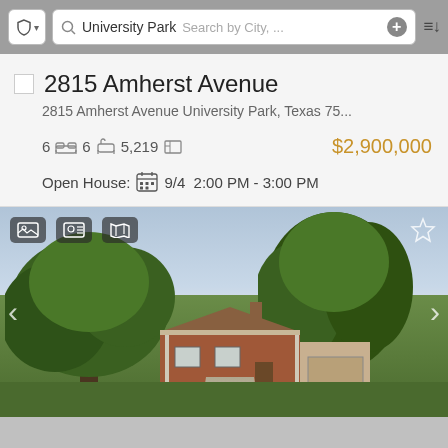University Park — Search by City,...
2815 Amherst Avenue
2815 Amherst Avenue University Park, Texas 75...
6  6  5,219     $2,900,000
Open House:  9/4  2:00 PM - 3:00 PM
[Figure (photo): Exterior photo of 2815 Amherst Avenue, a brick ranch-style house in University Park, Texas, surrounded by large mature trees with green lawn in front. Navigation arrows on left and right sides, icon overlays at top.]